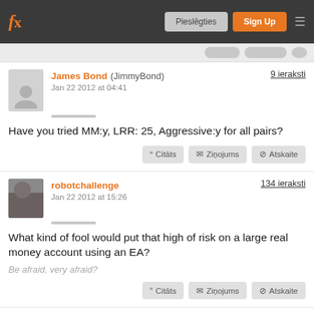fx | Pieslēgties | Sign Up
James Bond (JimmyBond) Jan 22 2012 at 04:41 — 9 ieraksti
Have you tried MM:y, LRR: 25, Aggressive:y for all pairs?
robotchallenge Jan 22 2012 at 15:26 — 134 ieraksti
What kind of fool would put that high of risk on a large real money account using an EA?
Be afraid, very afraid?
James Bond (JimmyBond) Jan 22 2012 at 22:10 — 9 ieraksti